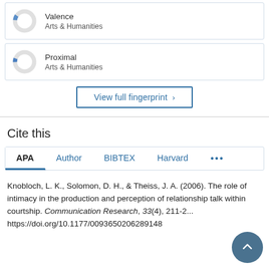[Figure (donut-chart): Small donut chart with a small blue segment, labeled Valence, Arts & Humanities]
[Figure (donut-chart): Small donut chart with a small blue segment, labeled Proximal, Arts & Humanities]
View full fingerprint >
Cite this
APA  Author  BIBTEX  Harvard  ...
Knobloch, L. K., Solomon, D. H., & Theiss, J. A. (2006). The role of intimacy in the production and perception of relationship talk within courtship. Communication Research, 33(4), 211-2... https://doi.org/10.1177/0093650206289148